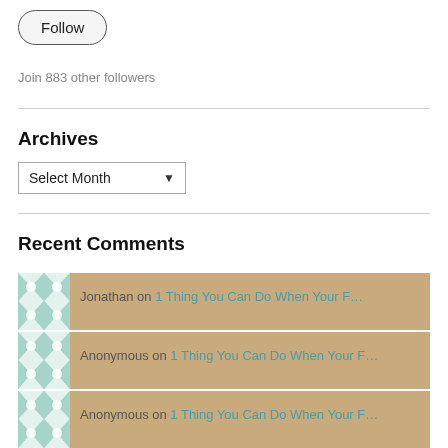[Figure (other): Follow button (pill-shaped button with border)]
Join 883 other followers
Archives
[Figure (other): Select Month dropdown widget]
Recent Comments
Jonathan on 1 Thing You Can Do When Your F…
Anonymous on 1 Thing You Can Do When Your F…
Anonymous on 1 Thing You Can Do When Your F…